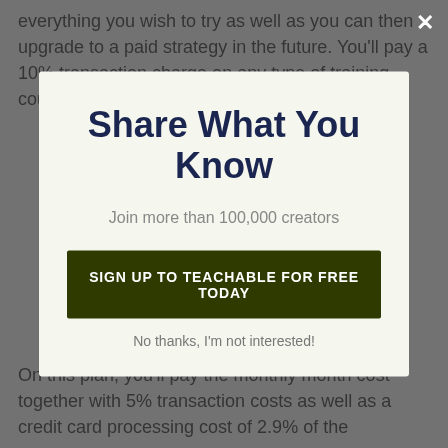everything you wish to try as well as you can then upgrade to a paid strategy in the future. You'll pay a 10% transaction charge on any type of training course sales in addition to a credit card cost of
Share What You Know
Join more than 100,000 creators
SIGN UP TO TEACHABLE FOR FREE TODAY
No thanks, I'm not interested!
On this plan, you'll pay the monthly month cost together with 5% transaction costs as well as a credit card processing cost of 2.9% of the